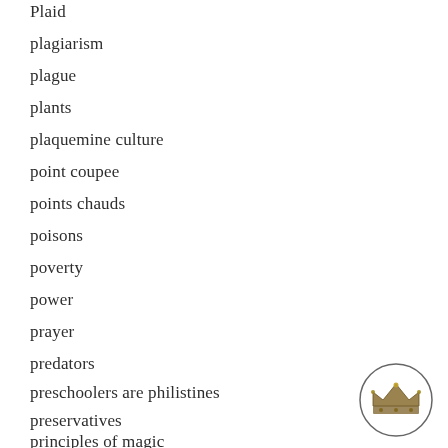Plaid
plagiarism
plague
plants
plaquemine culture
point coupee
points chauds
poisons
poverty
power
prayer
predators
preschoolers are philistines
preservatives
principles of magic
[Figure (illustration): A small circular emblem with a crown illustration inside, positioned in the bottom-right corner of the page.]